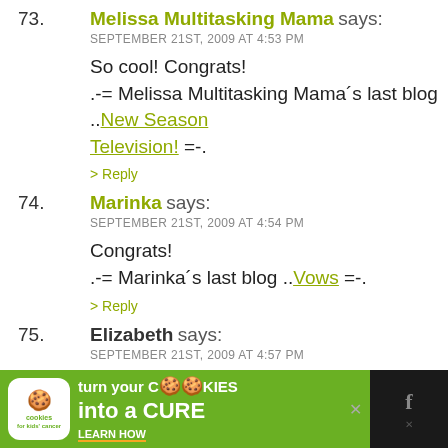73. Melissa Multitasking Mama says:
SEPTEMBER 21ST, 2009 AT 4:53 PM
So cool! Congrats!
.-= Melissa Multitasking Mama´s last blog ..New Season Television! =-.
74. Marinka says:
SEPTEMBER 21ST, 2009 AT 4:54 PM
Congrats!
.-= Marinka´s last blog ..Vows =-.
75. Elizabeth says:
SEPTEMBER 21ST, 2009 AT 4:57 PM
Congrats!
[Figure (advertisement): Cookies for Kids Cancer ad banner: 'turn your COOKIES into a CURE LEARN HOW' on green background with cookie logo and dark social media icons]